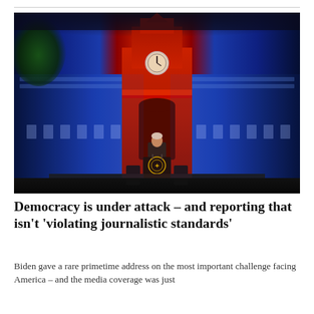[Figure (photo): President Biden standing at a presidential podium with the presidential seal, giving a primetime speech in front of Independence Hall illuminated dramatically in red and blue lights at night.]
Democracy is under attack – and reporting that isn't 'violating journalistic standards'
Biden gave a rare primetime address on the most important challenge facing America – and the media coverage was just